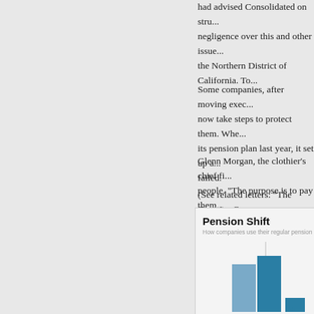had advised Consolidated on structure... negligence over this and other issues... the Northern District of California. To...
Some companies, after moving exec... now take steps to protect them. Whe... its pension plan last year, it set up a... failed.
Glenn Morgan, the clothier's chief fi... people. "The purpose is to pay them...
(See related letters: "The Captains O... 12, 2008)
[Figure (bar-chart): How companies use their regular pension plans. Shows bars representing pension shift data with blue colored bars.]